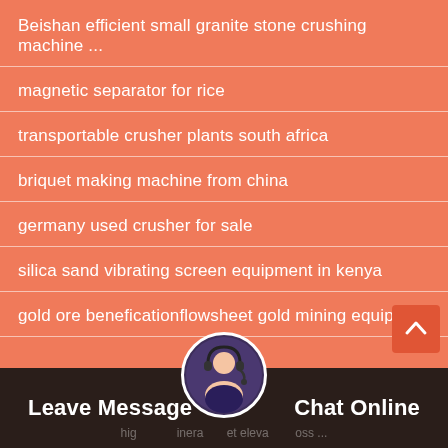Beishan efficient small granite stone crushing machine ...
magnetic separator for rice
transportable crusher plants south africa
briquet making machine from china
germany used crusher for sale
silica sand vibrating screen equipment in kenya
gold ore beneficationflowsheet gold mining equipme...
Leave Message   Chat Online